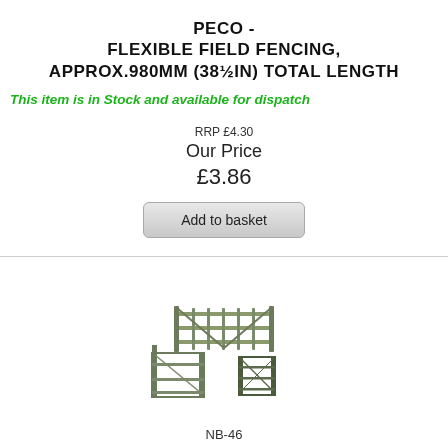PECO - FLEXIBLE FIELD FENCING, APPROX.980MM (38½IN) TOTAL LENGTH
This item is in Stock and available for dispatch
RRP £4.30
Our Price
£3.86
Add to basket
[Figure (photo): Product image showing flexible field fencing pieces - a gate section and fence panels in olive/green color]
NB-46